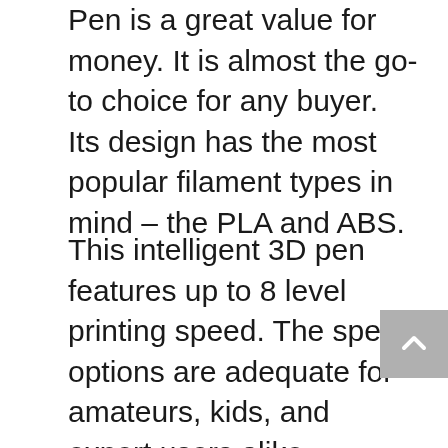Pen is a great value for money. It is almost the go-to choice for any buyer. Its design has the most popular filament types in mind – the PLA and ABS.
This intelligent 3D pen features up to 8 level printing speed. The speed options are adequate for amateurs, kids, and expert users alike. Flexibility in speed has a great advantage. It ensures that you can find a setting that is right for your purpose and skill level. It also has an adjustable temperature range of between 160 and 210 degrees. With this temperature range, you can use most of the filament types on the market today. The adjustable temperature gives you the option to control the overheating of the device. This makes it safer for kids to use. It is a